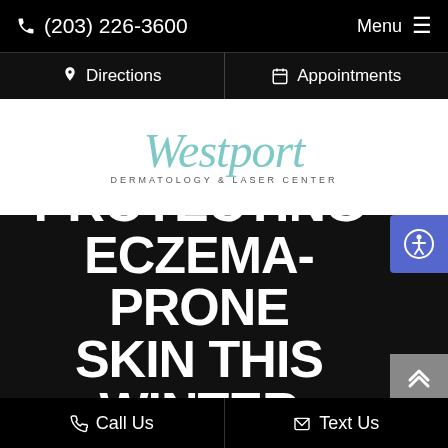(203) 226-3600   Menu
Directions   Appointments
[Figure (logo): Westport Dermatology & Laser Center logo in light blue cursive script on white background]
PROTECTING ECZEMA-PRONE SKIN THIS WINTER
Call Us   Text Us